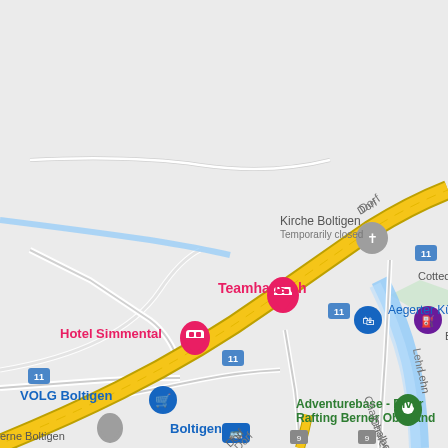[Figure (map): Google Maps screenshot showing Boltigen, Switzerland area with road 11 (yellow highway) running diagonally, featuring several place markers: Teamhaus.ch (pink/hotel marker), Hotel Simmental (pink marker), VOLG Boltigen (blue shopping marker), Boltigen train station (blue marker), Kirche Boltigen (gray church marker, temporarily closed), Aegerter Küchen (blue shopping marker), Cottec.ch (text), Brü... (partial text), Adventurebase - River Rafting Berner Oberland (green marker), and road labels including Dorf, Lehn, Chalberweid streets. Blue river/water visible on right side.]